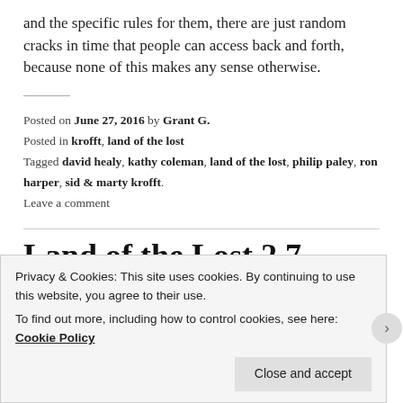and the specific rules for them, there are just random cracks in time that people can access back and forth, because none of this makes any sense otherwise.
Posted on June 27, 2016 by Grant G.
Posted in krofft, land of the lost
Tagged david healy, kathy coleman, land of the lost, philip paley, ron harper, sid & marty krofft.
Leave a comment
Land of the Lost 2.7
Privacy & Cookies: This site uses cookies. By continuing to use this website, you agree to their use.
To find out more, including how to control cookies, see here: Cookie Policy
Close and accept